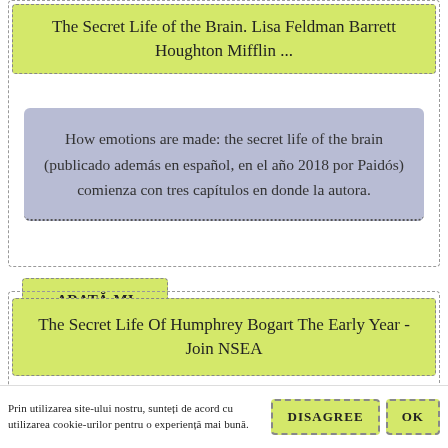The Secret Life of the Brain. Lisa Feldman Barrett Houghton Mifflin ...
How emotions are made: the secret life of the brain (publicado además en español, en el año 2018 por Paidós) comienza con tres capítulos en donde la autora.
ARATĂ-MI MAI MULTE
The Secret Life Of Humphrey Bogart The Early Year - Join NSEA
Prin utilizarea site-ului nostru, sunteți de acord cu utilizarea cookie-urilor pentru o experiență mai bună.
DISAGREE
OK